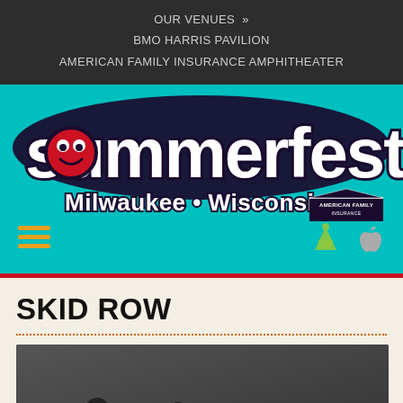OUR VENUES »
BMO HARRIS PAVILION
AMERICAN FAMILY INSURANCE AMPHITHEATER
[Figure (logo): Summerfest Milwaukee Wisconsin logo on teal background with hamburger menu and app download icons]
SKID ROW
[Figure (photo): Black and white photo of Skid Row band members]